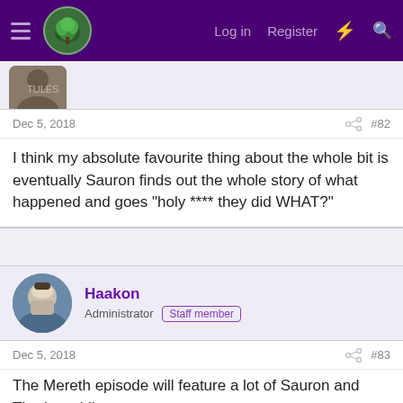[Figure (screenshot): Forum website navigation bar with purple background, hamburger menu, tree logo, Log in, Register links and icons]
[Figure (photo): Partial avatar of previous post user at top of page]
Dec 5, 2018  #82
I think my absolute favourite thing about the whole bit is eventually Sauron finds out the whole story of what happened and goes "holy **** they did WHAT?"
[Figure (photo): Haakon user avatar - person in costume photo]
Haakon
Administrator  Staff member
Dec 5, 2018  #83
The Mereth episode will feature a lot of Sauron and Thurigwethil hiding dropped jaws and trying not to become all giggly when the truth dawns on them.
[Figure (illustration): Faelivrin user avatar - teal circle with letter F]
Faelivrin
Well-Known Member